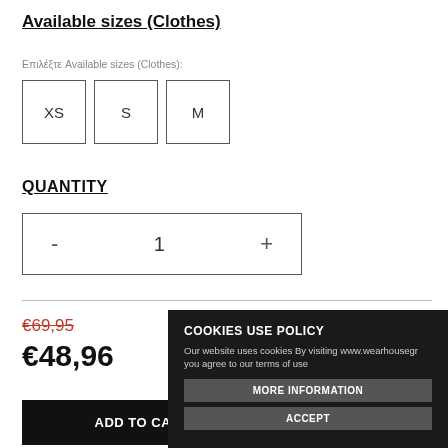Available sizes (Clothes)
Επιλέξτε Available sizes (Clothes):
XS   S   M
QUANTITY
- 1 +
€69,95
€48,96
ADD TO CART
COOKIES USE POLICY
Our website uses cookies By visiting www.wearhousegr you agree to our terms of use
MORE INFORMATION
ACCEPT